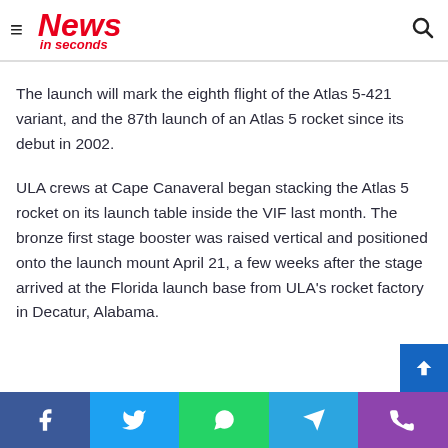News in seconds
The launch will mark the eighth flight of the Atlas 5-421 variant, and the 87th launch of an Atlas 5 rocket since its debut in 2002.
ULA crews at Cape Canaveral began stacking the Atlas 5 rocket on its launch table inside the VIF last month. The bronze first stage booster was raised vertical and positioned onto the launch mount April 21, a few weeks after the stage arrived at the Florida launch base from ULA's rocket factory in Decatur, Alabama.
Social share bar: Facebook, Twitter, WhatsApp, Telegram, Phone